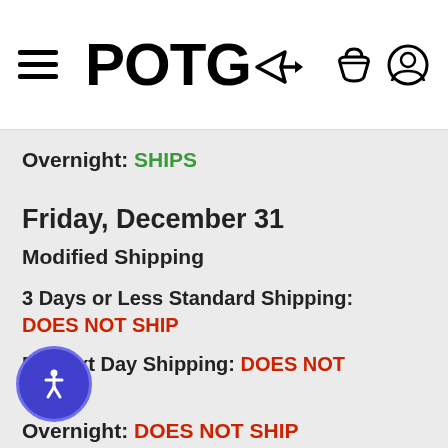POTG (logo with navigation and icons)
Overnight: SHIPS
Friday, December 31
Modified Shipping
3 Days or Less Standard Shipping: DOES NOT SHIP
FL Next Day Shipping: DOES NOT SHIP
Overnight: DOES NOT SHIP